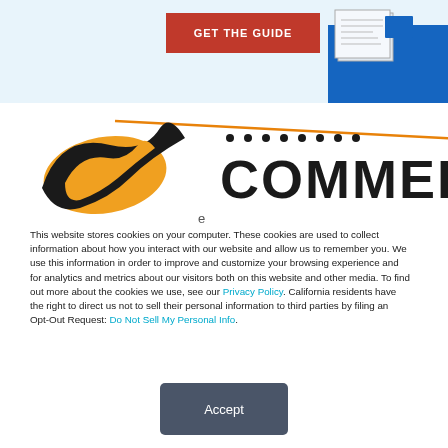[Figure (screenshot): Top banner with red GET THE GUIDE button, document image, and blue rectangle on light blue background]
[Figure (logo): eCommerce logo with orange swoosh graphic and COMMERCE text in bold black letters with dots above]
This website stores cookies on your computer. These cookies are used to collect information about how you interact with our website and allow us to remember you. We use this information in order to improve and customize your browsing experience and for analytics and metrics about our visitors both on this website and other media. To find out more about the cookies we use, see our Privacy Policy. California residents have the right to direct us not to sell their personal information to third parties by filing an Opt-Out Request: Do Not Sell My Personal Info.
Accept